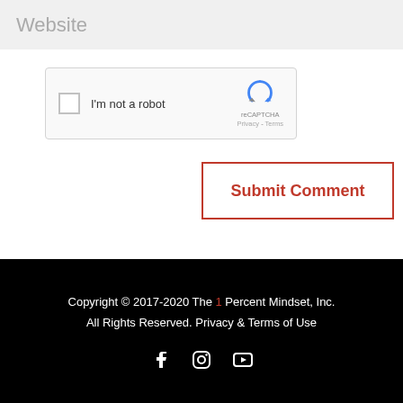Website
[Figure (screenshot): reCAPTCHA widget with checkbox labeled I'm not a robot and Google reCAPTCHA logo with Privacy - Terms links]
Submit Comment
Copyright © 2017-2020 The 1 Percent Mindset, Inc. All Rights Reserved. Privacy & Terms of Use
[Figure (infographic): Social media icons: Facebook, Instagram, YouTube]